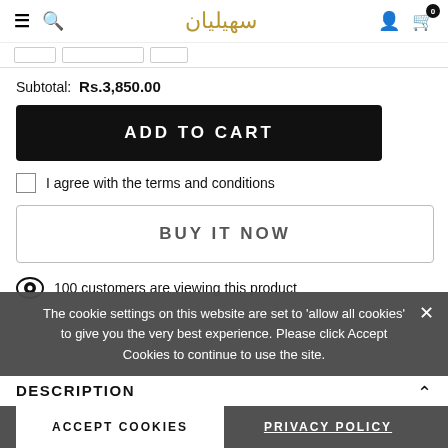Saheliyan brand logo with hamburger menu, search, user, and cart icons
Subtotal: Rs.3,850.00
ADD TO CART
I agree with the terms and conditions
BUY IT NOW
100 customers are viewing this product
The cookie settings on this website are set to 'allow all cookies' to give you the very best experience. Please click Accept Cookies to continue to use the site.
ACCEPT COOKIES
PRIVACY POLICY
DESCRIPTION
From the elegance to revolution this "CORAL" Juri has its own class with